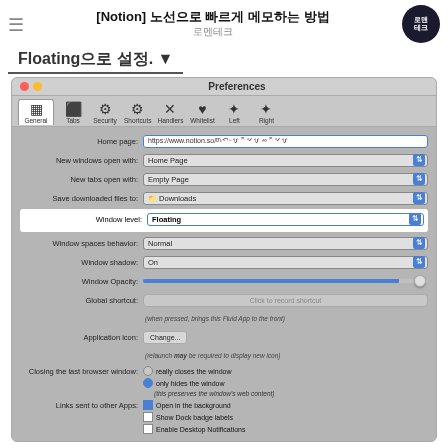[Notion] 노선으로 빠르게 메모하는 방법 / 로멘테크
Floating으로 설정.
[Figure (screenshot): macOS Preferences window (Fluid App) showing General tab settings: Home page set to https://www.notion.so/..., New windows open with Home Page, New tabs open with Empty Page, Save downloaded files to Downloads, Window level set to Floating (highlighted), Window spaces behavior Normal, Window shadow On, Window Opacity slider, Global shortcut, Application icon, Closing the last browser window options with only hides the window selected, Links sent to other Apps with Open in the background checked.]